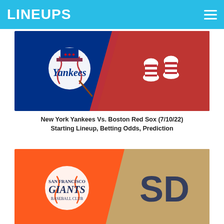LINEUPS
[Figure (illustration): New York Yankees vs Boston Red Sox matchup graphic with Yankees logo (top hat and baseball) on blue background and Red Sox socks logo on red background]
New York Yankees Vs. Boston Red Sox (7/10/22) Starting Lineup, Betting Odds, Prediction
[Figure (illustration): San Francisco Giants vs San Diego Padres matchup graphic with Giants baseball logo on orange background and SD Padres logo on tan/khaki background]
San Francisco Giants vs San Diego Padres (7/10/22) Starting Lineup, Betting Odds,